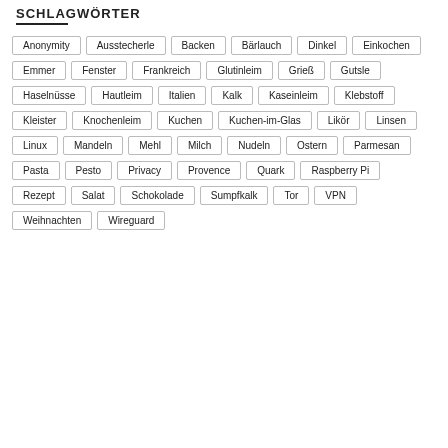SCHLAGWÖRTER
Anonymity
Ausstecherle
Backen
Bärlauch
Dinkel
Einkochen
Emmer
Fenster
Frankreich
Glutinleim
Grieß
Gutsle
Haselnüsse
Hautleim
Italien
Kalk
Kaseinleim
Klebstoff
Kleister
Knochenleim
Kuchen
Kuchen-im-Glas
Likör
Linsen
Linux
Mandeln
Mehl
Milch
Nudeln
Ostern
Parmesan
Pasta
Pesto
Privacy
Provence
Quark
Raspberry Pi
Rezept
Salat
Schokolade
Sumpfkalk
Tor
VPN
Weihnachten
Wireguard